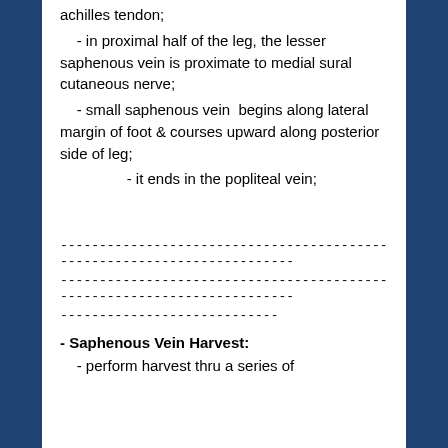achilles tendon;
- in proximal half of the leg, the lesser saphenous vein is proximate to medial sural cutaneous nerve;
- small saphenous vein  begins along lateral margin of foot & courses upward along posterior side of leg;
- it ends in the popliteal vein;
------------------------------------------------------------------------
------------------------------------------------------------------------
----------------------------
- Saphenous Vein Harvest:
- perform harvest thru a series of